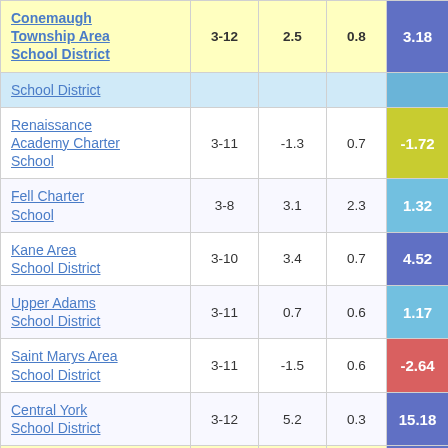| School/District | Grades | Col3 | Col4 | Score |
| --- | --- | --- | --- | --- |
| Conemaugh Township Area School District | 3-12 | 2.5 | 0.8 | 3.18 |
| School District (cut) |  |  |  |  |
| Renaissance Academy Charter School | 3-11 | -1.3 | 0.7 | -1.72 |
| Fell Charter School | 3-8 | 3.1 | 2.3 | 1.32 |
| Kane Area School District | 3-10 | 3.4 | 0.7 | 4.52 |
| Upper Adams School District | 3-11 | 0.7 | 0.6 | 1.17 |
| Saint Marys Area School District | 3-11 | -1.5 | 0.6 | -2.64 |
| Central York School District | 3-12 | 5.2 | 0.3 | 15.18 |
| Corry Area (partial) |  |  |  |  |